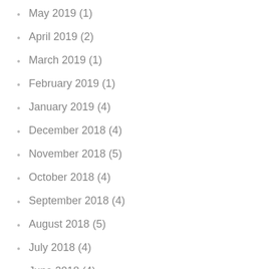May 2019 (1)
April 2019 (2)
March 2019 (1)
February 2019 (1)
January 2019 (4)
December 2018 (4)
November 2018 (5)
October 2018 (4)
September 2018 (4)
August 2018 (5)
July 2018 (4)
June 2018 (4)